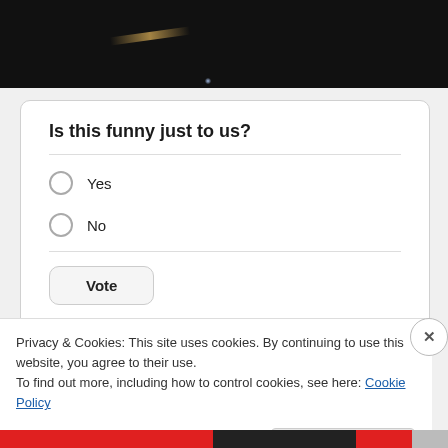[Figure (photo): Dark background photo strip at top of page, showing a dim scene with a light streak and a small blue/white light point]
Is this funny just to us?
Yes
No
Vote
View Results   Crowdsignal.com
Privacy & Cookies: This site uses cookies. By continuing to use this website, you agree to their use.
To find out more, including how to control cookies, see here: Cookie Policy
Close and accept